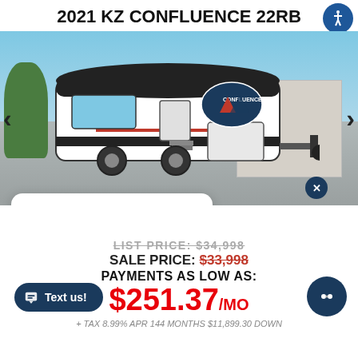2021 KZ CONFLUENCE 22RB
[Figure (photo): Photo of a 2021 KZ Confluence 22RB travel trailer (white with black trim and mountain logo) parked in a lot with a building in the background. Navigation arrows on left and right sides.]
How can we help? Text us here!
LIST PRICE: $34,998
SALE PRICE: $33,998
PAYMENTS AS LOW AS:
$251.37/MO
+ TAX 8.99% APR 144 MONTHS $11,899.30 DOWN